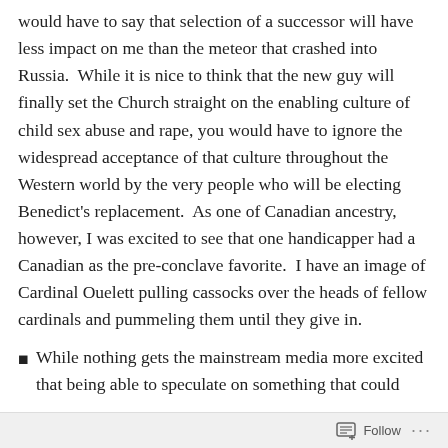would have to say that selection of a successor will have less impact on me than the meteor that crashed into Russia.  While it is nice to think that the new guy will finally set the Church straight on the enabling culture of child sex abuse and rape, you would have to ignore the widespread acceptance of that culture throughout the Western world by the very people who will be electing Benedict's replacement.  As one of Canadian ancestry, however, I was excited to see that one handicapper had a Canadian as the pre-conclave favorite.  I have an image of Cardinal Ouelett pulling cassocks over the heads of fellow cardinals and pummeling them until they give in.
While nothing gets the mainstream media more excited that being able to speculate on something that could
Follow ···